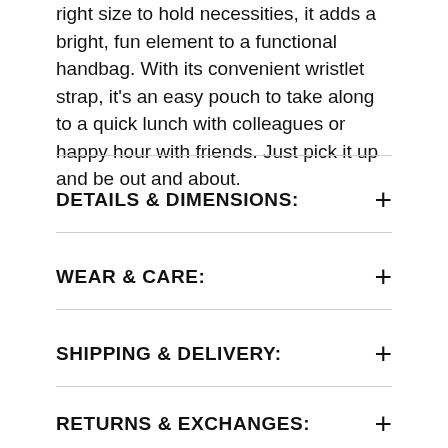right size to hold necessities, it adds a bright, fun element to a functional handbag. With its convenient wristlet strap, it's an easy pouch to take along to a quick lunch with colleagues or happy hour with friends. Just pick it up and be out and about.
DETAILS & DIMENSIONS:
WEAR & CARE:
SHIPPING & DELIVERY:
RETURNS & EXCHANGES: